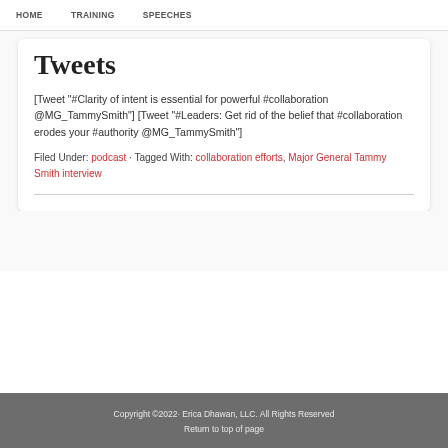HOME   TRAINING   SPEECHES
Tweets
[Tweet "#Clarity of intent is essential for powerful #collaboration @MG_TammySmith"] [Tweet "#Leaders: Get rid of the belief that #collaboration erodes your #authority @MG_TammySmith"]
Filed Under: podcast · Tagged With: collaboration efforts, Major General Tammy Smith interview
Copyright ©2022· Erica Dhawan, LLC. All Rights Reserved
Return to top of page